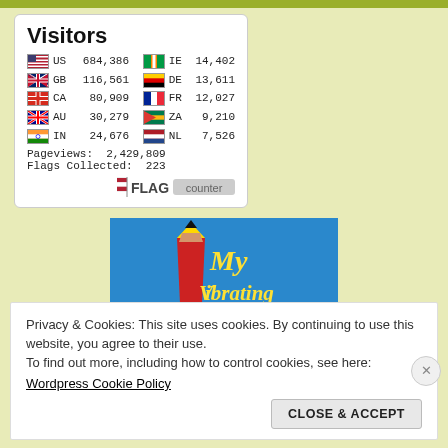[Figure (infographic): Flag counter widget showing visitor statistics by country. Title: Visitors. Countries listed: US 684,386 | IE 14,402 | GB 116,561 | DE 13,611 | CA 80,909 | FR 12,027 | AU 30,279 | ZA 9,210 | IN 24,676 | NL 7,526. Pageviews: 2,429,809. Flags Collected: 223. FLAG counter logo at bottom.]
[Figure (photo): Blog banner image for 'My Vibrating Vertebrae' showing a red and yellow pencil against a blue background with yellow decorative text reading 'My Vibrating Vertebrae'.]
Privacy & Cookies: This site uses cookies. By continuing to use this website, you agree to their use.
To find out more, including how to control cookies, see here:
Wordpress Cookie Policy
CLOSE & ACCEPT